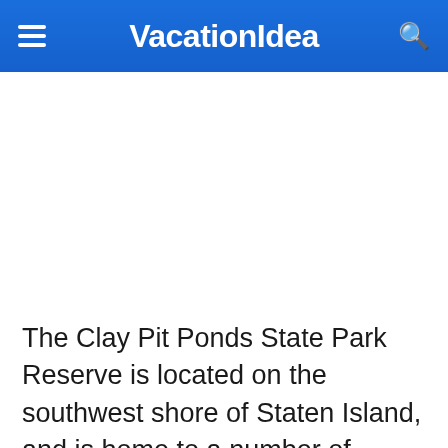VacationIdea
[Figure (other): White blank image placeholder area below the navigation header]
The Clay Pit Ponds State Park Reserve is located on the southwest shore of Staten Island, and is home to a number of ecological habitats, including wetlands, sand barrens,